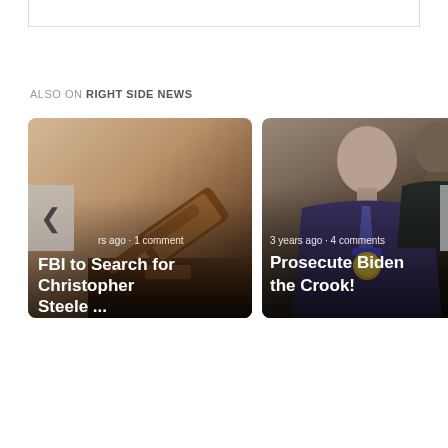ALSO ON RIGHT SIDE NEWS
[Figure (screenshot): News article card showing a gavel image with text 'FBI to Search for Christopher Steele ...' and metadata 'rs ago · 1 comment']
[Figure (screenshot): News article card showing a person wearing a medal with text 'Prosecute Biden the Crook!' and metadata '3 years ago · 4 comments']